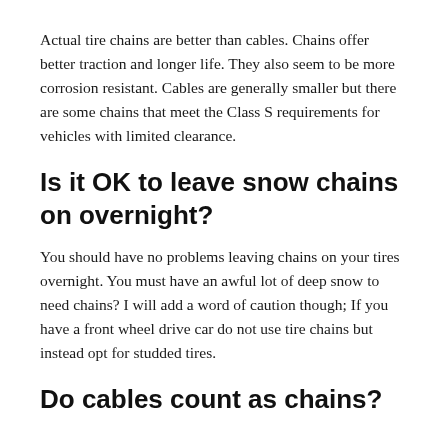Actual tire chains are better than cables. Chains offer better traction and longer life. They also seem to be more corrosion resistant. Cables are generally smaller but there are some chains that meet the Class S requirements for vehicles with limited clearance.
Is it OK to leave snow chains on overnight?
You should have no problems leaving chains on your tires overnight. You must have an awful lot of deep snow to need chains? I will add a word of caution though; If you have a front wheel drive car do not use tire chains but instead opt for studded tires.
Do cables count as chains?